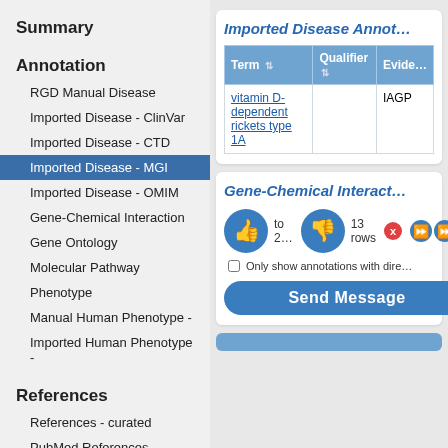Summary
Annotation
RGD Manual Disease
Imported Disease - ClinVar
Imported Disease - CTD
Imported Disease - MGI
Imported Disease - OMIM
Gene-Chemical Interaction
Gene Ontology
Molecular Pathway
Phenotype
Manual Human Phenotype -
Imported Human Phenotype -
References
References - curated
PubMed References
Genomics
Comparative Map Data
Imported Disease Annot…
| Term | Qualifier | Evide… |
| --- | --- | --- |
| vitamin D-dependent rickets type 1A |  | IAGP |
Gene-Chemical Interact…
[Figure (screenshot): Popup overlay showing two circular thumbs up/thumbs down buttons in blue, a red X badge, text showing rows navigation, a checkbox labeled 'Only show annotations with dire…', and a 'Send Message' blue button.]